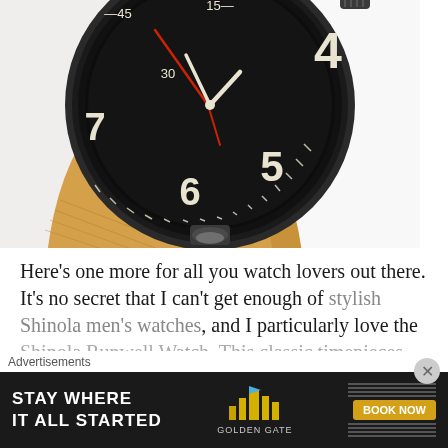[Figure (photo): Close-up photo of a Shinola watch with black face showing numerals 4, 5, 6, 7 and minute markers 15, 30, 45, with a tan/brown leather strap against a light grey/white background]
Here’s one more for all you watch lovers out there. It’s no secret that I can’t get enough of stylish Shinola men’s watches, and I particularly love the Shinola Runwell Watch. This classic timepiece got an
Advertisements
[Figure (screenshot): Advertisement banner for Golden Gate hotel: dark background with white text reading STAY WHERE IT ALL STARTED, Golden Gate logo with bar chart icon, and a gold BOOK NOW button, with horizontal line patterns on the right side]